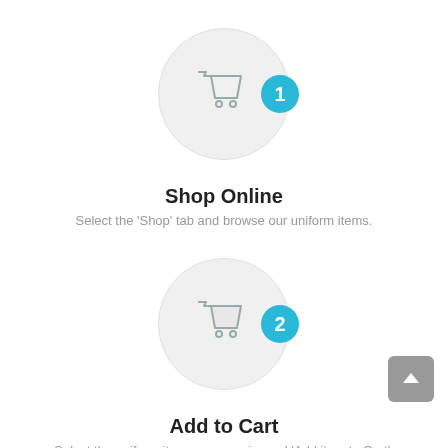[Figure (illustration): Shopping cart icon inside a large light grey circle with a cyan badge showing number 1]
Shop Online
Select the 'Shop' tab and browse our uniform items.
[Figure (illustration): Shopping cart icon inside a large light grey circle with a cyan badge showing number 2]
Add to Cart
Select the uniform items you require and 'Add item to Cart'.